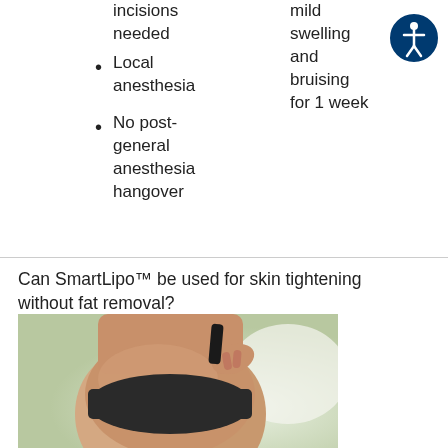minimal incisions needed
Local anesthesia
No post-general anesthesia hangover
mild swelling and bruising for 1 week
Can SmartLipo™ be used for skin tightening without fat removal?
[Figure (photo): Back view of a woman in dark bikini bottoms showing buttocks and thighs against a blurred green/white background]